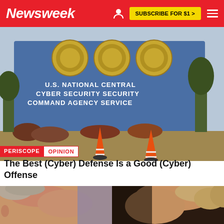Newsweek | SUBSCRIBE FOR $1 >
[Figure (photo): Photo of the U.S. Cyber Command / National Security Agency / Central Security Service sign on a blue background with gold seals, trees, traffic cones in foreground]
PERISCOPE   OPINION
The Best (Cyber) Defense Is a Good (Cyber) Offense
[Figure (photo): Side-by-side cropped photos of two politicians, left showing an older man with grey hair (Biden), right showing another older man with blonde hair (Trump)]